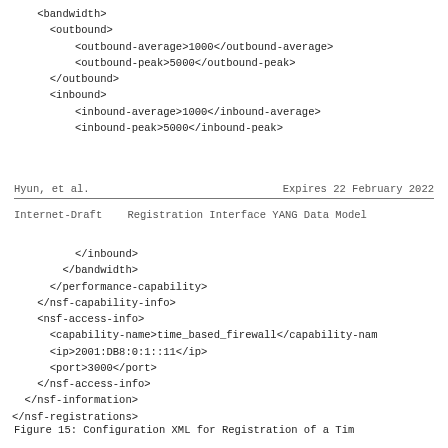<bandwidth>
      <outbound>
          <outbound-average>1000</outbound-average>
          <outbound-peak>5000</outbound-peak>
      </outbound>
      <inbound>
          <inbound-average>1000</inbound-average>
          <inbound-peak>5000</inbound-peak>
Hyun, et al.                Expires 22 February 2022
Internet-Draft    Registration Interface YANG Data Model
</inbound>
        </bandwidth>
      </performance-capability>
    </nsf-capability-info>
    <nsf-access-info>
      <capability-name>time_based_firewall</capability-name>
      <ip>2001:DB8:0:1::11</ip>
      <port>3000</port>
    </nsf-access-info>
  </nsf-information>
</nsf-registrations>
Figure 15: Configuration XML for Registration of a Tim